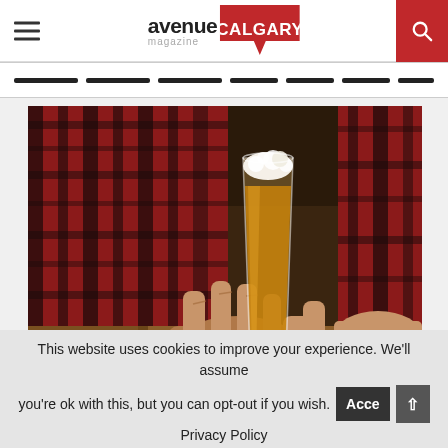avenue magazine CALGARY
[Figure (photo): Person in red and black plaid shirt holding a pint glass of amber beer with a frothy white head, resting on a wooden bar surface]
This website uses cookies to improve your experience. We'll assume you're ok with this, but you can opt-out if you wish.
Privacy Policy